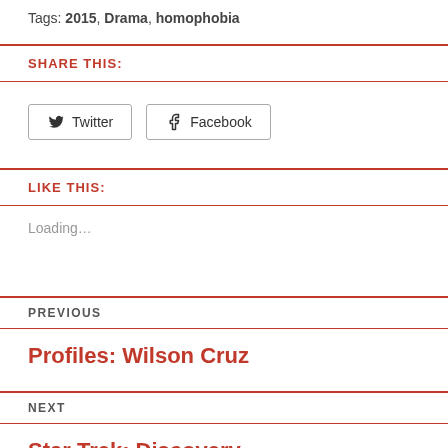Tags: 2015, Drama, homophobia
SHARE THIS:
[Figure (other): Twitter and Facebook share buttons]
LIKE THIS:
Loading...
PREVIOUS
Profiles: Wilson Cruz
NEXT
Star Trek: Discovery